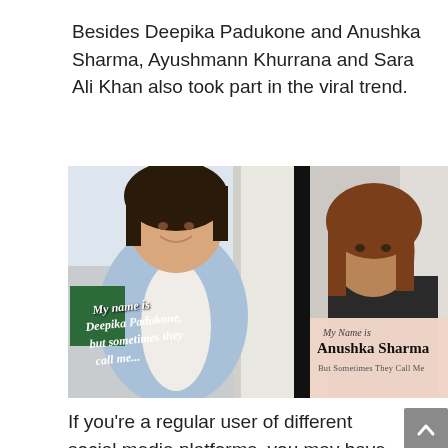Besides Deepika Padukone and Anushka Sharma, Ayushmann Khurrana and Sara Ali Khan also took part in the viral trend.
[Figure (photo): Side-by-side photo showing Deepika Padukone on the left in a light blue shirt smiling, with cursive overlay text 'My name is Deepika Padukone, but sometimes they call me...' and on the right Anushka Sharma with a pink overlay panel reading 'My Name is Anushka Sharma But Sometimes They Call Me']
If you're a regular user of different social media platforms, you may have seen the posts by various Bollywood actors taking